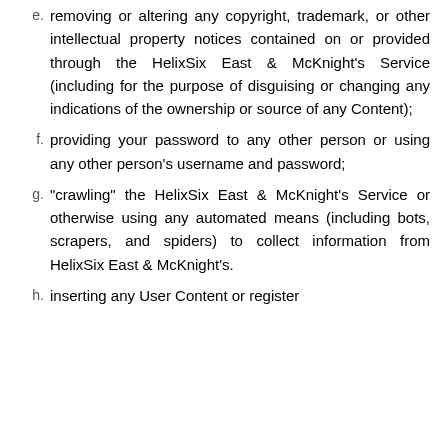e. removing or altering any copyright, trademark, or other intellectual property notices contained on or provided through the HelixSix East & McKnight's Service (including for the purpose of disguising or changing any indications of the ownership or source of any Content);
f. providing your password to any other person or using any other person's username and password;
g. "crawling" the HelixSix East & McKnight's Service or otherwise using any automated means (including bots, scrapers, and spiders) to collect information from HelixSix East & McKnight's.
h. inserting any User Content or register